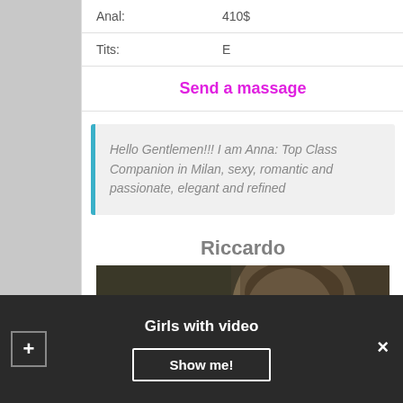| Anal: | 410$ |
| Tits: | E |
Send a massage
Hello Gentlemen!!! I am Anna: Top Class Companion in Milan, sexy, romantic and passionate, elegant and refined
Riccardo
[Figure (photo): Photo of a young woman with dark hair pulled back, looking slightly upward, in front of a blurred background]
Girls with video
Show me!